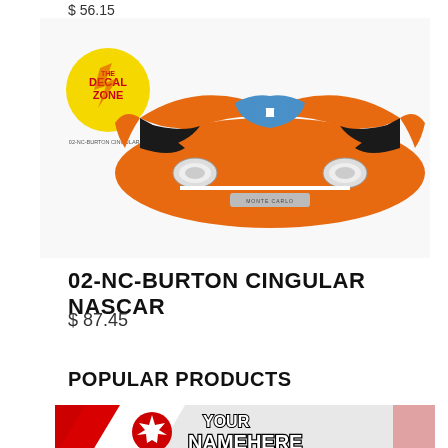$ 56.15
[Figure (illustration): NASCAR nose cone decal design in orange and black with blue Chevrolet bowtie logo and headlights, with The Decal Zone circular logo in top left. Caption reads 02-NC-BURTON CINGULAR 31]
02-NC-BURTON CINGULAR NASCAR
$ 87.45
POPULAR PRODUCTS
[Figure (illustration): Canadian flag design with red diagonal stripes and maple leaf, with 'YOUR NAME HERE' text in bold white outlined letters]